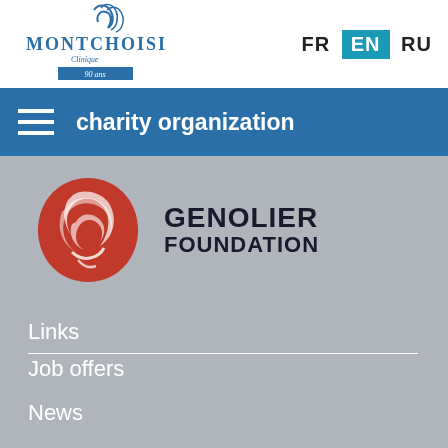[Figure (logo): Montchoisi Clinique 90 ans logo with blue text and decorative swirls]
FR EN RU
[Figure (logo): Genolier Foundation logo with red circular emblem and dark text]
charity organization
Links
Job offers
News
Events
Medias